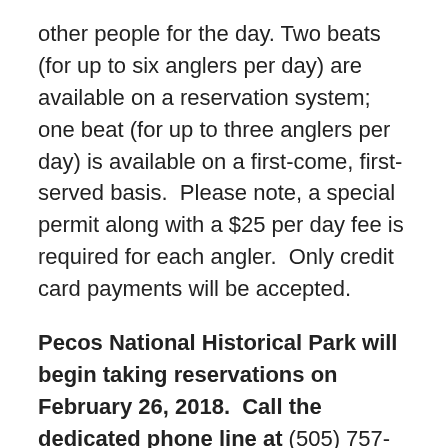other people for the day. Two beats (for up to six anglers per day) are available on a reservation system; one beat (for up to three anglers per day) is available on a first-come, first-served basis.  Please note, a special permit along with a $25 per day fee is required for each angler.  Only credit card payments will be accepted.
Pecos National Historical Park will begin taking reservations on February 26, 2018.  Call the dedicated phone line at (505) 757-7272. Please leave your name, the number of people that will fish (up to 3 per one-mile beat), the date you would like to fish, and contact information including the name and phone number for each person on the reservation. Remember the park is closed to fishing on Tuesdays and Wednesdays.
Reservations are accepted in the order they are received.